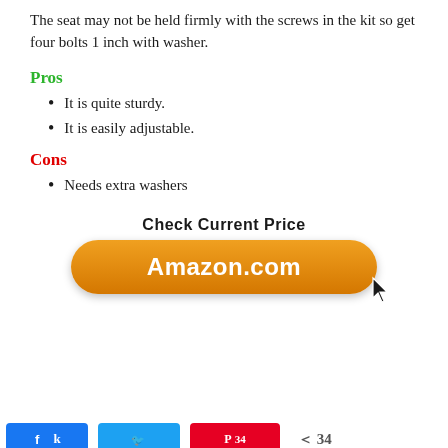The seat may not be held firmly with the screws in the kit so get four bolts 1 inch with washer.
Pros
It is quite sturdy.
It is easily adjustable.
Cons
Needs extra washers
[Figure (other): Check Current Price button linking to Amazon.com with orange rounded button and cursor icon]
[Figure (other): Social share bar with Facebook, Twitter, Pinterest buttons and share count of 34]